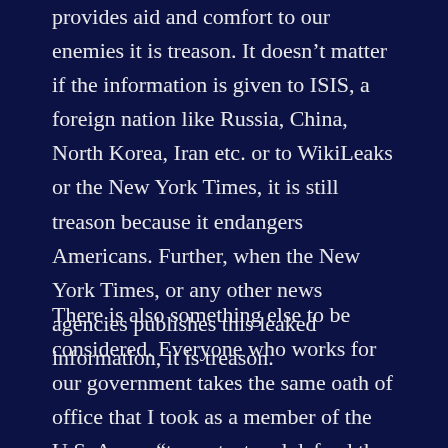provides aid and comfort to our enemies it is treason. It doesn't matter if the information is given to ISIS, a foreign nation like Russia, China, North Korea, Iran etc. or to WikiLeaks or the New York Times, it is still treason because it endangers Americans. Further, when the New York Times, or any other news agencies publishes this leaked information, it is treason.
There is also something else to be considered. Everyone who works for our government takes the same oath of office that I took as a member of the U.S. Army, “to protect and defend the Constitution of the United States” and there are federal criminal penalties for violating that oath. These penalties